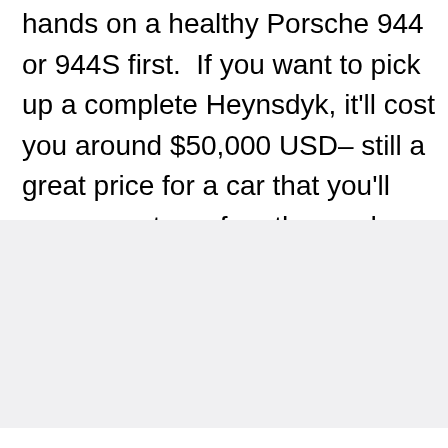hands on a healthy Porsche 944 or 944S first.  If you want to pick up a complete Heynsdyk, it'll cost you around $50,000 USD– still a great price for a car that you'll never see two of on the road.  Sure, you could buy a cookie cutter BMW for that price, but why not drive something your city has never seen?
[Figure (photo): Light gray image placeholder area with like button (heart icon), count of 1, and share button on the right side]